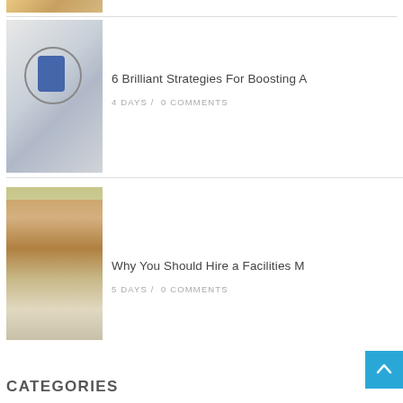[Figure (photo): Partial top image clipped at top of page (person/face partially visible)]
[Figure (photo): Photo of a blue crumpled paper/clay house on a sketched lightbulb drawing in a notebook]
6 Brilliant Strategies For Boosting A
4 DAYS /  0 COMMENTS
[Figure (photo): Photo of a shopping mall interior with escalator and reflective tiled floor]
Why You Should Hire a Facilities M
5 DAYS /  0 COMMENTS
CATEGORIES